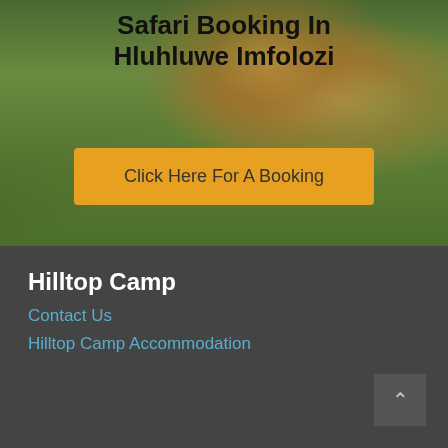[Figure (photo): Safari promotional banner with lion in background, green grass/bush scenery, dark overlay. Text overlay reads 'Safari Booking In Hluhluwe Imfolozi' with an orange button 'Click Here For A Booking']
Hluhluwe Accommodation
< Nyalazi Campsite Hluhluwe Imfolozi Park
Hilltop Camp
Contact Us
Hilltop Camp Accommodation